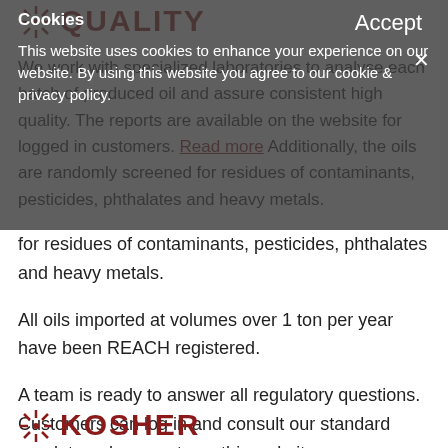QUALITY
We work with specialized laboratories to analyse each batch of produced oil and assure consistent high quality. The reports are available on the website for logged in customers. Additionally, the oils are randomly screened for residues of contaminants, pesticides, phthalates and heavy metals.
All oils imported at volumes over 1 ton per year have been REACH registered.
A team is ready to answer all regulatory questions. Customers can log in and consult our standard regulatory documents on this website.
Cookies
This website uses cookies to enhance your experience on our website. By using this website you agree to our cookie & privacy policy.
Accept
KOSHER